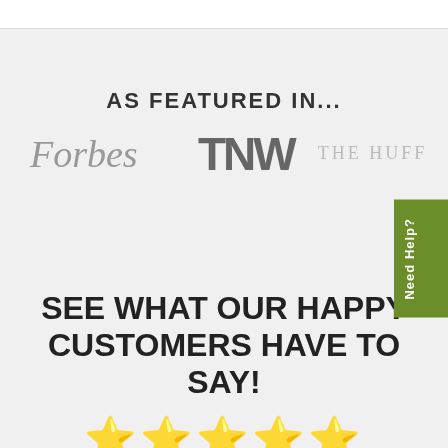AS FEATURED IN...
[Figure (logo): Forbes logo in gray italic serif font]
[Figure (logo): TNW logo in bold gray sans-serif font]
[Figure (logo): THE HUFF... (The Huffington Post) logo in gray uppercase serif font, partially cropped]
SEE WHAT OUR HAPPY CUSTOMERS HAVE TO SAY!
[Figure (infographic): Five gold star rating icons]
Check out our customer reviews (4.86 / 5 average from